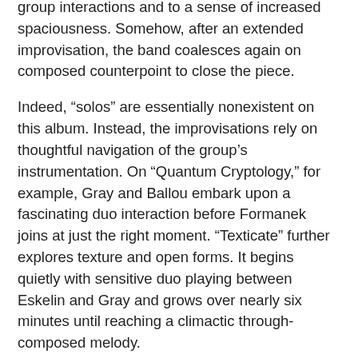group interactions and to a sense of increased spaciousness. Somehow, after an extended improvisation, the band coalesces again on composed counterpoint to close the piece.
Indeed, “solos” are essentially nonexistent on this album. Instead, the improvisations rely on thoughtful navigation of the group’s instrumentation. On “Quantum Cryptology,” for example, Gray and Ballou embark upon a fascinating duo interaction before Formanek joins at just the right moment. “Texticate” further explores texture and open forms. It begins quietly with sensitive duo playing between Eskelin and Gray and grows over nearly six minutes until reaching a climactic through-composed melody.
Gray’s melodic writing reaches its zenith, in my opining, on “Congruently,” “Trends of Trending,” and “The Wire.” Quartets without chordal instruments have a long history in jazz, but their history remains somewhat marginal, perhaps in part because of how difficult it is to compose music that will retain cohesion in this format. In Eskelin, Formanek, and Ballou, Gray has found players who can make his